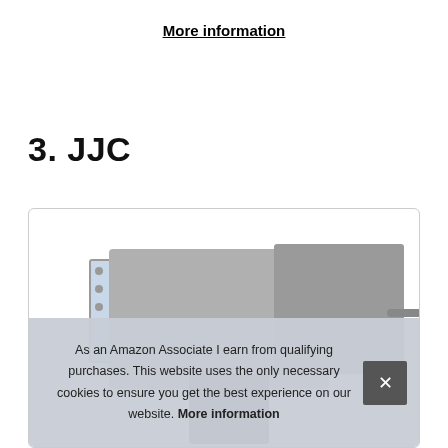More information
3. JJC
[Figure (photo): Product photo of a JJC camera accessory (appears to be a camera with external monitor/screen attachment and cable), shown inside a card with rounded border.]
As an Amazon Associate I earn from qualifying purchases. This website uses the only necessary cookies to ensure you get the best experience on our website. More information